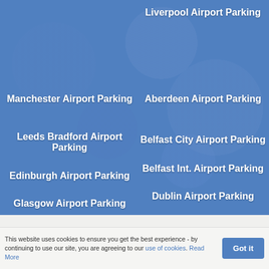Liverpool Airport Parking
Manchester Airport Parking
Aberdeen Airport Parking
Leeds Bradford Airport Parking
Belfast City Airport Parking
Belfast Int. Airport Parking
Edinburgh Airport Parking
Dublin Airport Parking
Glasgow Airport Parking
Shannon Airport Parking
Prestwick Airport Parking
About Us
Email Preferences
This website uses cookies to ensure you get the best experience - by continuing to use our site, you are agreeing to our use of cookies. Read More